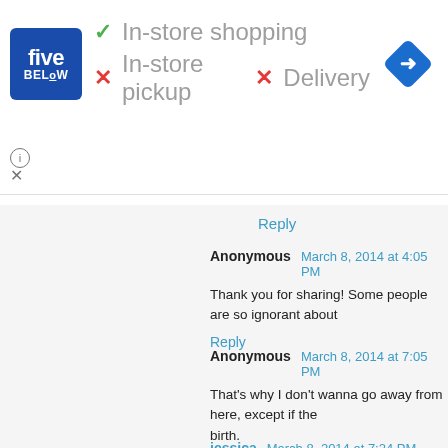[Figure (screenshot): Five Below store advertisement banner showing in-store shopping available (green checkmark), in-store pickup unavailable (red X), and delivery unavailable (red X), with Five Below logo and navigation diamond icon]
Reply
Anonymous   March 8, 2014 at 4:05 PM
Thank you for sharing! Some people are so ignorant about
Reply
Anonymous   March 8, 2014 at 7:05 PM
That's why I don't wanna go away from here, except if the birth.
Reply
jessica   March 8, 2014 at 7:24 PM
Graduated from UP Min, stayed in Dvo for 4 years, me lov